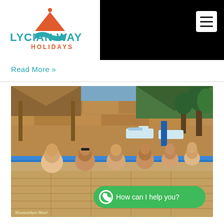[Figure (logo): Lycian Way Holidays logo with teal mountain/wave icon and orange HOLIDAYS text]
Read More »
[Figure (photo): Outdoor swimming pool with several people in the water leaning on the pool edge, stone building and lounge chairs in background, mountainous landscape. A green WhatsApp button overlay reads 'How can I help you?'. Photo credit: Mountainbym Motel]
Mountainbym Motel